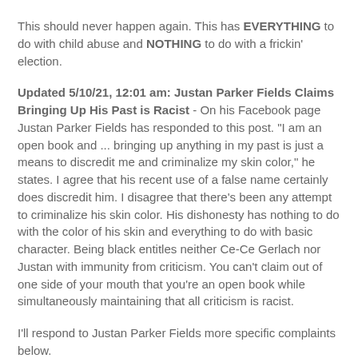This should never happen again. This has EVERYTHING to do with child abuse and NOTHING to do with a frickin' election.
Updated 5/10/21, 12:01 am: Justan Parker Fields Claims Bringing Up His Past is Racist - On his Facebook page Justan Parker Fields has responded to this post. "I am an open book and ... bringing up anything in my past is just a means to discredit me and criminalize my skin color," he states. I agree that his recent use of a false name certainly does discredit him. I disagree that there's been any attempt to criminalize his skin color. His dishonesty has nothing to do with the color of his skin and everything to do with basic character. Being black entitles neither Ce-Ce Gerlach nor Justan with immunity from criticism. You can't claim out of one side of your mouth that you're an open book while simultaneously maintaining that all criticism is racist.
I'll respond to Justan Parker Fields more specific complaints below.